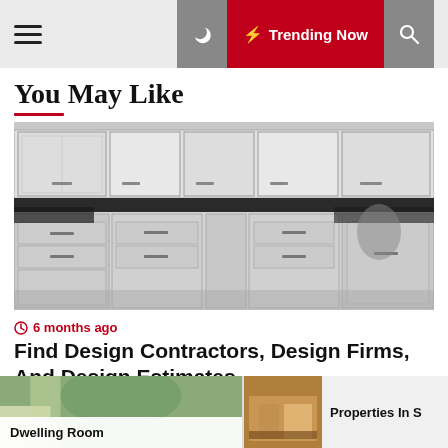Trending Now
You May Like
[Figure (photo): Black and white photo of a kitchen interior showing upper cabinets with glass doors and lower cabinets with drawers and doors, dark countertop, drawers partially open]
6 months ago
Find Design Contractors, Design Firms, And Design Estimates
[Figure (photo): Partial view of a room with greenery, partially cut off at bottom of page — labeled Dwelling Room]
[Figure (photo): Small thumbnail of an interior room in warm tones — labeled Properties In S]